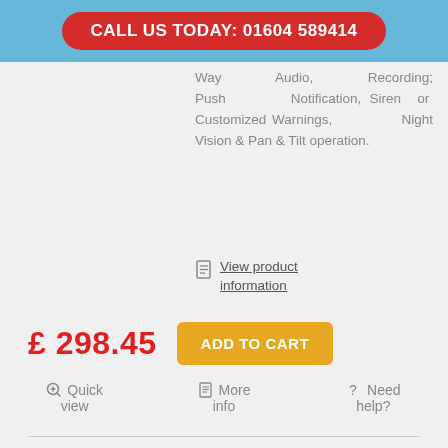CALL US TODAY: 01604 589414
Way Audio, Recording; Push Notification, Siren or Customized Warnings, Night Vision & Pan & Tilt operation.
View product information
£ 298.45
ADD TO CART
Quick view
More info
Need help?
CAMOUFLAGE BATTERY EXTERNAL WI-FI 1080P
[Figure (photo): Camouflage battery external Wi-Fi camera, black with camouflage pattern, shown at angle on a white background]